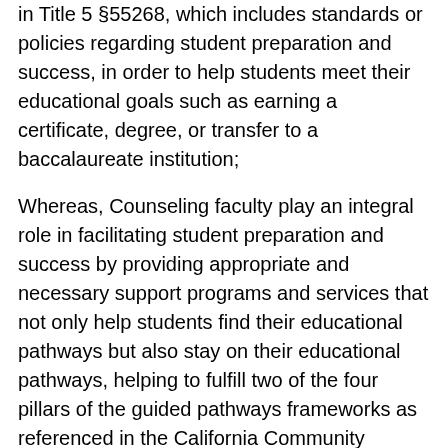in Title 5 §55268, which includes standards or policies regarding student preparation and success, in order to help students meet their educational goals such as earning a certificate, degree, or transfer to a baccalaureate institution;
Whereas, Counseling faculty play an integral role in facilitating student preparation and success by providing appropriate and necessary support programs and services that not only help students find their educational pathways but also stay on their educational pathways, helping to fulfill two of the four pillars of the guided pathways frameworks as referenced in the California Community Colleges Chancellor's Office Vision for Success [1], which is vital to ensuring that students are able to meet their goals;
Whereas, During times of economic recession, programs such as student services and counseling often experience heavy decreases in funding since they are not considered instructional programs under California Education Code